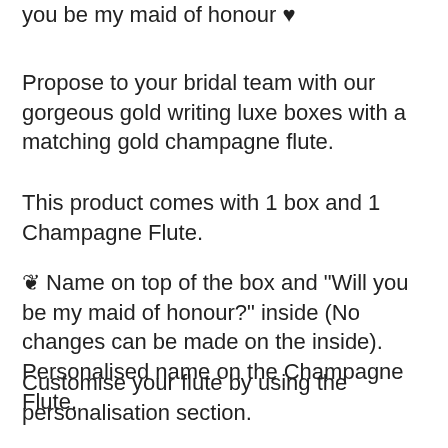you be my maid of honour ♥
Propose to your bridal team with our gorgeous gold writing luxe boxes with a matching gold champagne flute.
This product comes with 1 box and 1 Champagne Flute.
❦ Name on top of the box and "Will you be my maid of honour?" inside (No changes can be made on the inside). Personalised name on the Champagne Flute.
Customise your flute by using the personalisation section.
No changes can be made to the inside of the box. However if you would a